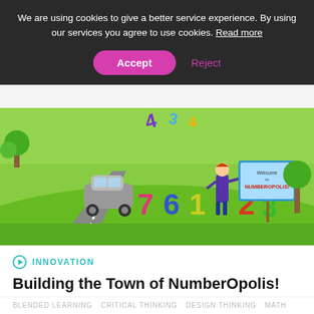We are using cookies to give a better service experience. By using our services you agree to use cookies. Read more
Accept
Reject
[Figure (illustration): Colorful animated scene showing cartoon number characters (7, 6, 1, 2, 3) standing on a green landscape with a road, a small car, trees, and a 'Welcome to NumberOpolis!' sign held by a character.]
INNOVATION
Building the Town of NumberOpolis!
Imagination, global numeric linkages and recycled materials encourage students to experiment with math on their own terms. The multi-disciplinary one-day to full-year engaging...
BLENDED LEARNING   CRITICAL THINKING   DESIGN THINKING   MATH